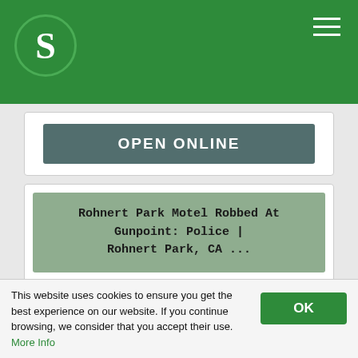S [logo] — website header with hamburger menu
OPEN ONLINE
Rohnert Park Motel Robbed At Gunpoint: Police | Rohnert Park, CA ...
26 Apr 2019 ... Rodeway Inn, 6288 Redwood Drive, Rohnert Park (Google Maps Street ... following leads as they seek to track down the suspects, police said.
This website uses cookies to ensure you get the best experience on our website. If you continue browsing, we consider that you accept their use. More Info